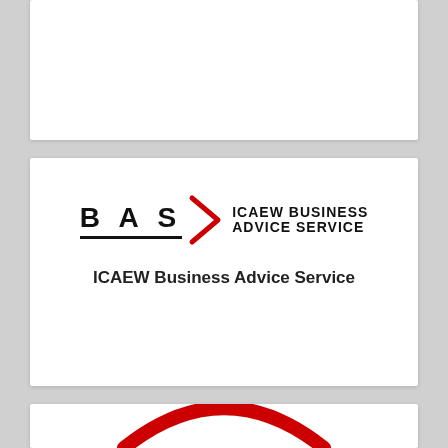[Figure (other): Top white card panel, blank]
[Figure (logo): BAS ICAEW Business Advice Service logo with chevron arrow in red]
ICAEW Business Advice Service
[Figure (logo): Partial red arc/swirl logo visible at bottom of page]